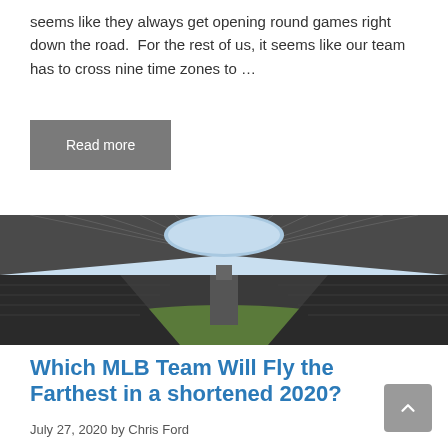seems like they always get opening round games right down the road.  For the rest of us, it seems like our team has to cross nine time zones to …
Read more
[Figure (photo): Panoramic interior view of a large sports stadium with an oval roof opening revealing a blue sky, empty stands visible on the sides]
Which MLB Team Will Fly the Farthest in a shortened 2020?
July 27, 2020 by Chris Ford